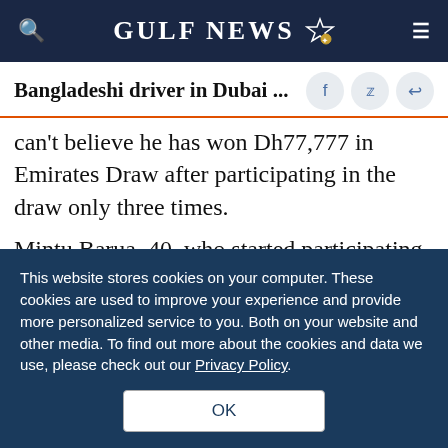GULF NEWS
Bangladeshi driver in Dubai ...
can't believe he has won Dh77,777 in Emirates Draw after participating in the draw only three times.
Mintu Barua, 40, who started participating only a month ago, said: “My colleague encouraged me to buy Dh50 pencils after he won last month. I’m so happy that I did because now my life’s changed
This website stores cookies on your computer. These cookies are used to improve your experience and provide more personalized service to you. Both on your website and other media. To find out more about the cookies and data we use, please check out our Privacy Policy.